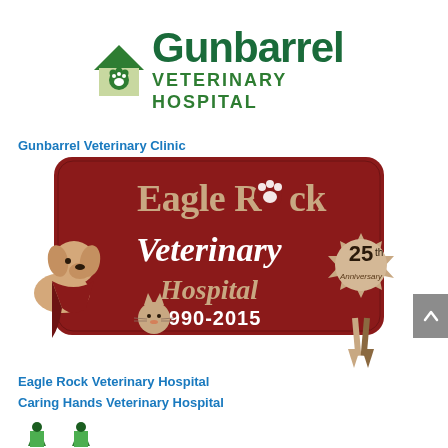[Figure (logo): Gunbarrel Veterinary Hospital logo: teal house/building shape with paw print, text 'Gunbarrel' in large teal letters and 'VETERINARY HOSPITAL' in smaller teal letters below]
Gunbarrel Veterinary Clinic
[Figure (illustration): Eagle Rock Veterinary Hospital promotional illustration: dark red rounded-rectangle sign reading 'Eagle Rock Veterinary Hospital 1990-2015' with illustrated cartoon dog wearing red bandana on left, cartoon cat in center-left, and 25th Anniversary ribbon badge on right]
Eagle Rock Veterinary Hospital
Caring Hands Veterinary Hospital